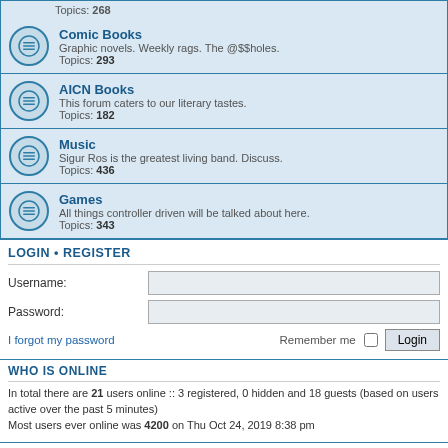Topics: 268
Comic Books – Graphic novels. Weekly rags. The @$$holes. Topics: 293
AICN Books – This forum caters to our literary tastes. Topics: 182
Music – Sigur Ros is the greatest living band. Discuss. Topics: 436
Games – All things controller driven will be talked about here. Topics: 343
LOGIN • REGISTER
Username:
Password:
I forgot my password
Remember me
WHO IS ONLINE
In total there are 21 users online :: 3 registered, 0 hidden and 18 guests (based on users active over the past 5 minutes)
Most users ever online was 4200 on Thu Oct 24, 2019 8:38 pm
STATISTICS